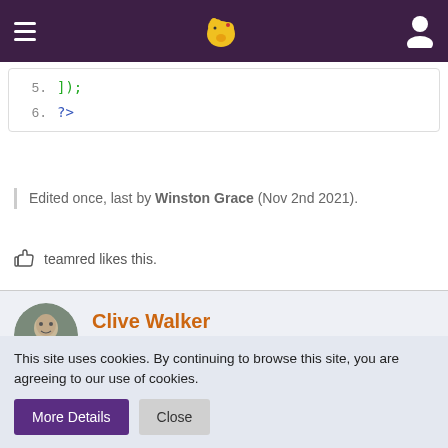Navigation bar with menu icon, logo, and user icon
5.   ]);
6.   ?>
Edited once, last by Winston Grace (Nov 2nd 2021).
teamred likes this.
Clive Walker
Registered Developer
Nov 2nd 2021  +1
This site uses cookies. By continuing to browse this site, you are agreeing to our use of cookies.